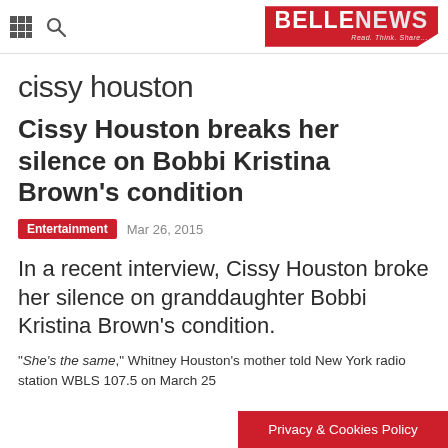BELLENEWS — Read. Think. Share.
cissy houston
Cissy Houston breaks her silence on Bobbi Kristina Brown's condition
Entertainment  Mar 26, 2015
In a recent interview, Cissy Houston broke her silence on granddaughter Bobbi Kristina Brown's condition.
"She's the same," Whitney Houston's mother told New York radio station WBLS 107.5 on March 25
Privacy & Cookies Policy